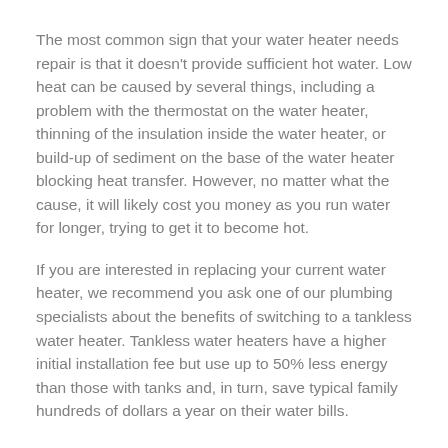The most common sign that your water heater needs repair is that it doesn't provide sufficient hot water. Low heat can be caused by several things, including a problem with the thermostat on the water heater, thinning of the insulation inside the water heater, or build-up of sediment on the base of the water heater blocking heat transfer. However, no matter what the cause, it will likely cost you money as you run water for longer, trying to get it to become hot.
If you are interested in replacing your current water heater, we recommend you ask one of our plumbing specialists about the benefits of switching to a tankless water heater. Tankless water heaters have a higher initial installation fee but use up to 50% less energy than those with tanks and, in turn, save typical family hundreds of dollars a year on their water bills.